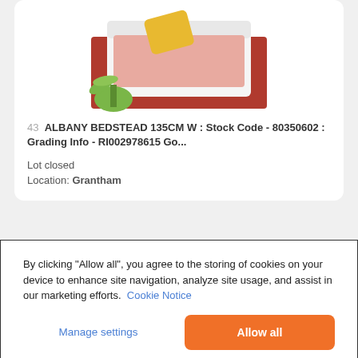[Figure (photo): Product photo of an Albany bedstead with red rug, pink bedding, and yellow throw, white bed frame, green plant in foreground]
43  ALBANY BEDSTEAD 135CM W : Stock Code - 80350602 : Grading Info - RI002978615 Go...
Lot closed
Location: Grantham
By clicking “Allow all”, you agree to the storing of cookies on your device to enhance site navigation, analyze site usage, and assist in our marketing efforts.  Cookie Notice
Manage settings
Allow all